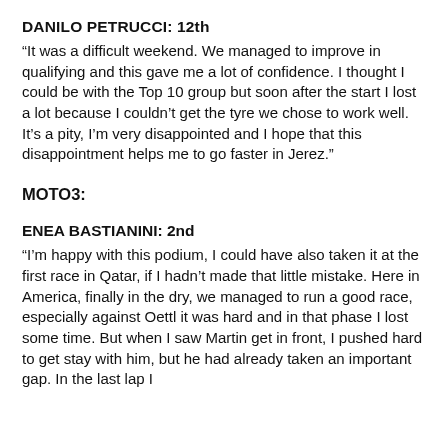DANILO PETRUCCI: 12th
“It was a difficult weekend. We managed to improve in qualifying and this gave me a lot of confidence. I thought I could be with the Top 10 group but soon after the start I lost a lot because I couldn’t get the tyre we chose to work well. It’s a pity, I’m very disappointed and I hope that this disappointment helps me to go faster in Jerez.”
MOTO3:
ENEA BASTIANINI: 2nd
“I’m happy with this podium, I could have also taken it at the first race in Qatar, if I hadn’t made that little mistake. Here in America, finally in the dry, we managed to run a good race, especially against Oettl it was hard and in that phase I lost some time. But when I saw Martin get in front, I pushed hard to get stay with him, but he had already taken an important gap. In the last lap I